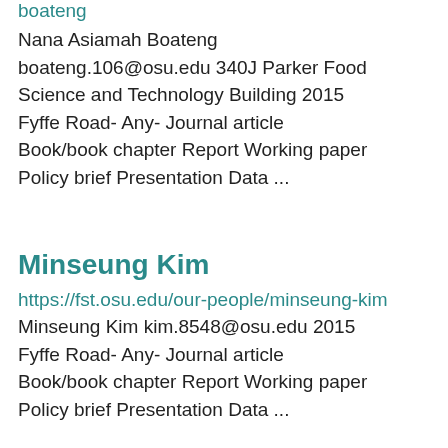boateng
Nana Asiamah Boateng boateng.106@osu.edu 340J Parker Food Science and Technology Building 2015 Fyffe Road- Any- Journal article Book/book chapter Report Working paper Policy brief Presentation Data ...
Minseung Kim
https://fst.osu.edu/our-people/minseung-kim
Minseung Kim kim.8548@osu.edu 2015 Fyffe Road- Any- Journal article Book/book chapter Report Working paper Policy brief Presentation Data ...